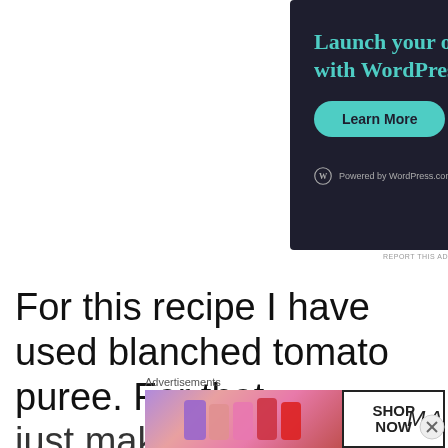[Figure (screenshot): WordPress advertisement with dark navy background. Heading: 'Launch your online course with WordPress'. Green 'Learn More' button. WordPress logo and 'Powered by WordPress.com' text at bottom.]
REPORT THIS AD
For this recipe I have used blanched tomato puree.  For that just make a  sign on tomato
Advertisements
[Figure (screenshot): MAC cosmetics advertisement showing colorful lipsticks on the left, MAC logo in the center, and a 'SHOP NOW' button on the right.]
REPORT THIS AD